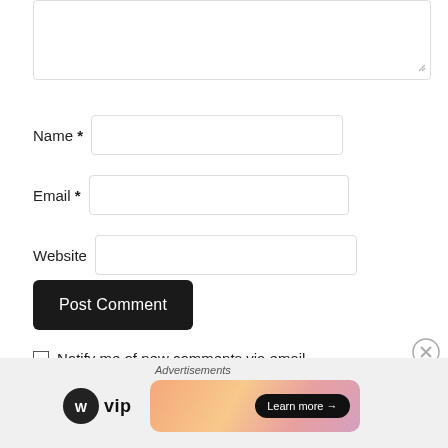[Figure (screenshot): Comment form textarea (top, partially visible), Name field, Email field, Website field, Post Comment button, Notify me checkbox, and advertisement bar at bottom with WordPress VIP logo and Learn more banner.]
Name *
Email *
Website
Post Comment
Notify me of new comments via email.
Advertisements
[Figure (logo): WordPress VIP logo with WP circle icon and 'vip' text in bold]
[Figure (other): Advertisement banner with gradient peach/pink background and 'Learn more →' button]